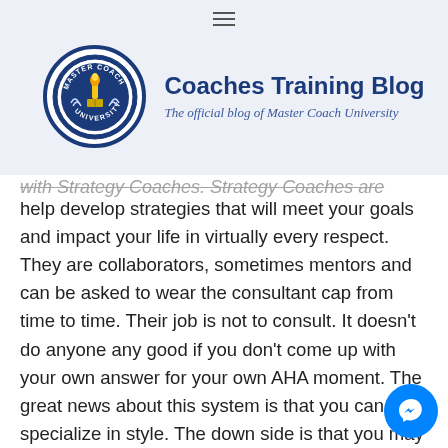Coaches Training Blog — The official blog of Master Coach University
with Strategy Coaches. Strategy Coaches are trained to help develop strategies that will meet your goals and impact your life in virtually every respect. They are collaborators, sometimes mentors and can be asked to wear the consultant cap from time to time. Their job is not to consult. It doesn't do anyone any good if you don't come up with your own answer for your own AHA moment. The great news about this system is that you can specialize in style. The down side is that you may limit yourself from extended growth. Another style is that that is common with organizations such as the International Coaching Federation, or CTI. Here you are